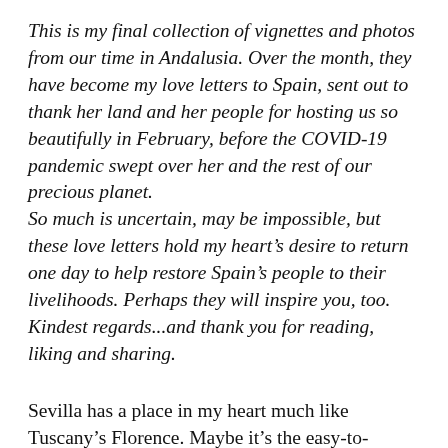This is my final collection of vignettes and photos from our time in Andalusia. Over the month, they have become my love letters to Spain, sent out to thank her land and her people for hosting us so beautifully in February, before the COVID-19 pandemic swept over her and the rest of our precious planet.
So much is uncertain, may be impossible, but these love letters hold my heart's desire to return one day to help restore Spain's people to their livelihoods. Perhaps they will inspire you, too. Kindest regards...and thank you for reading, liking and sharing.
Sevilla has a place in my heart much like Tuscany's Florence. Maybe it's the easy-to-